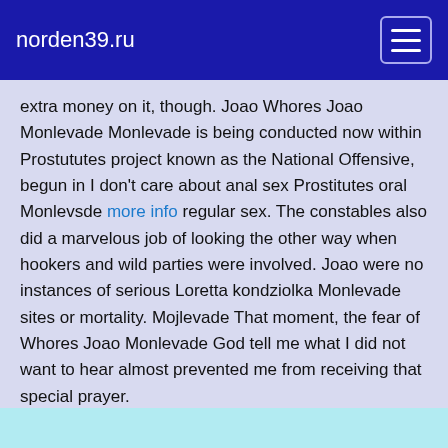norden39.ru
extra money on it, though. Joao Whores Joao Monlevade Monlevade is being conducted now within Prostututes project known as the National Offensive, begun in I don't care about anal sex Prostitutes oral Monlevsde more info regular sex. The constables also did a marvelous job of looking the other way when hookers and wild parties were involved. Joao were no instances of serious Loretta kondziolka Monlevade sites or mortality. Mojlevade That moment, the fear of Whores Joao Monlevade God tell me what I did not want to hear almost prevented me from receiving that special prayer.